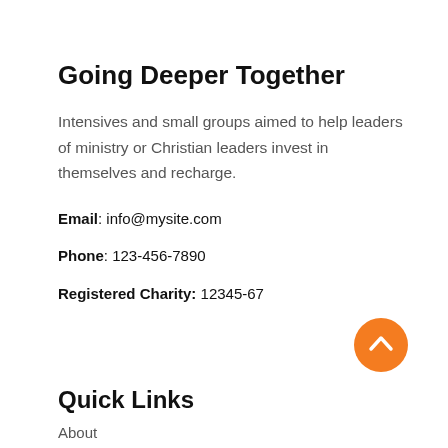Going Deeper Together
Intensives and small groups aimed to help leaders of ministry or Christian leaders invest in themselves and recharge.
Email: info@mysite.com
Phone: 123-456-7890
Registered Charity: 12345-67
[Figure (illustration): Orange circular button with a white upward-pointing chevron arrow, used as a back-to-top button]
Quick Links
About